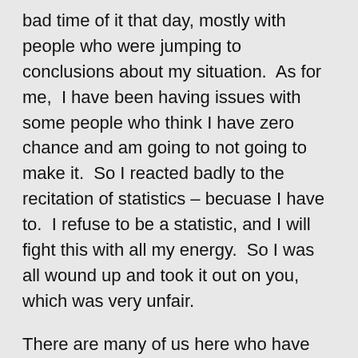bad time of it that day, mostly with people who were jumping to conclusions about my situation.  As for me,  I have been having issues with some people who think I have zero chance and am going to not going to make it.  So I reacted badly to the recitation of statistics – becuase I have to.  I refuse to be a statistic, and I will fight this with all my energy.  So I was all wound up and took it out on you, which was very unfair.
There are many of us here who have been where you are now, both patients and loved ones and each of us has had to figure out their own way forward.  Just about anything disease related goes on MPIP, and the early stage stuff is very difficult for many.  Best wishes to you and Bob – you will get good information and